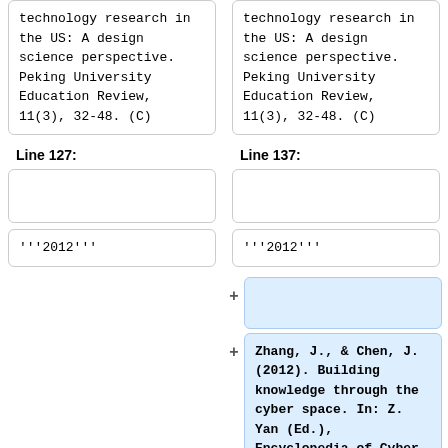technology research in the US: A design science perspective. Peking University Education Review, 11(3), 32-48. (C)
technology research in the US: A design science perspective. Peking University Education Review, 11(3), 32-48. (C)
Line 127:
Line 137:
'''2012'''
'''2012'''
Zhang, J., & Chen, J. (2012). Building knowledge through the cyber space. In: Z. Yan (Ed.), Encyclopedia of Cyber Behavior (pp. 383-393). Hershey PA: IGI Global.